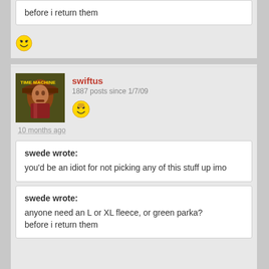before i return them
[Figure (illustration): Smiley face emoji (grinning face)]
swiftus
1887 posts since 1/7/09
[Figure (illustration): Avatar image of a person in a hat with a background text 'TIME MACHINE']
[Figure (illustration): Golden/yellow smiley face emoji]
10 months ago
swede wrote:
you'd be an idiot for not picking any of this stuff up imo
swede wrote:
anyone need an L or XL fleece, or green parka?
before i return them